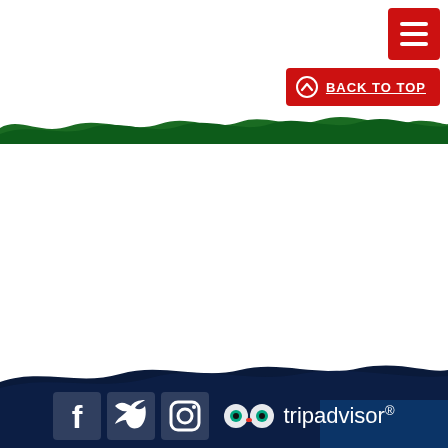[Figure (screenshot): Red hamburger menu button in top-right corner with three white horizontal lines]
[Figure (screenshot): Red 'BACK TO TOP' button with upward chevron circle icon in white text]
[Figure (illustration): Green torn-paper style horizontal divider band across the page]
Social media icons: Facebook, Twitter, Instagram, TripAdvisor
[Figure (logo): TripAdvisor logo with owl icon in white on dark navy footer background]